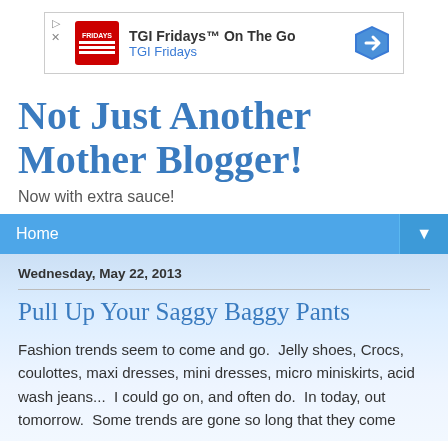[Figure (screenshot): TGI Fridays On The Go advertisement banner with TGI Fridays logo, text 'TGI Fridays™ On The Go' and 'TGI Fridays' subtitle, and a blue navigation arrow icon on the right.]
Not Just Another Mother Blogger!
Now with extra sauce!
Home
Wednesday, May 22, 2013
Pull Up Your Saggy Baggy Pants
Fashion trends seem to come and go.  Jelly shoes, Crocs, coulottes, maxi dresses, mini dresses, micro miniskirts, acid wash jeans...  I could go on, and often do.  In today, out tomorrow.  Some trends are gone so long that they come